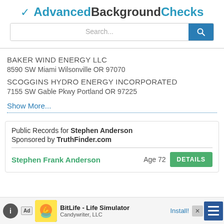✔ AdvancedBackgroundChecks
BAKER WIND ENERGY LLC
8590 SW Miami Wilsonville OR 97070
SCOGGINS HYDRO ENERGY INCORPORATED
7155 SW Gable Pkwy Portland OR 97225
Show More...
Public Records for Stephen Anderson
Sponsored by TruthFinder.com
Stephen Frank Anderson   Age 72   DETAILS
Ad  BitLife - Life Simulator  Candywriter, LLC  Install!